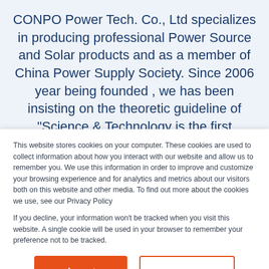CONPO Power Tech. Co., Ltd specializes in producing professional Power Source and Solar products and as a member of China Power Supply Society. Since 2006 year being founded , we has been insisting on the theoretic guideline of "Science & Technology is the first productive force" and holding up brand strategy as the guide, relying
This website stores cookies on your computer. These cookies are used to collect information about how you interact with our website and allow us to remember you. We use this information in order to improve and customize your browsing experience and for analytics and metrics about our visitors both on this website and other media. To find out more about the cookies we use, see our Privacy Policy
If you decline, your information won't be tracked when you visit this website. A single cookie will be used in your browser to remember your preference not to be tracked.